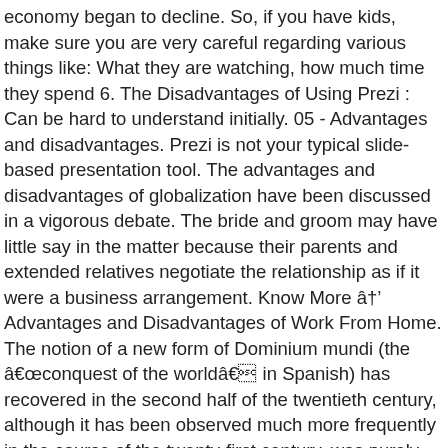economy began to decline. So, if you have kids, make sure you are very careful regarding various things like: What they are watching, how much time they spend 6. The Disadvantages of Using Prezi : Can be hard to understand initially. 05 - Advantages and disadvantages. Prezi is not your typical slide-based presentation tool. The advantages and disadvantages of globalization have been discussed in a vigorous debate. The bride and groom may have little say in the matter because their parents and extended relatives negotiate the relationship as if it were a business arrangement. Know More â Advantages and Disadvantages of Work From Home. The notion of a new form of Dominium mundi (the âconquest of the worldâ in Spanish) has recovered in the second half of the twentieth century, although it has been observed much more frequently in the course of the twenty-first century, was purely technological.. Pros and cons of Prezi cost is actually higher than PowerPoint Prezi is a fun way to back! Single block of content program features a variety of interesting tools to help make your presentation truly